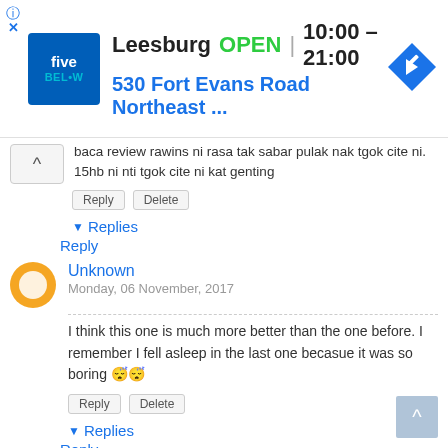[Figure (screenshot): Five Below store ad banner showing Leesburg location, OPEN 10:00-21:00, address 530 Fort Evans Road Northeast]
baca review rawins ni rasa tak sabar pulak nak tgok cite ni. 15hb ni nti tgok cite ni kat genting
Reply   Delete
▼ Replies
    Reply
Unknown
Monday, 06 November, 2017
I think this one is much more better than the one before. I remember I fell asleep in the last one becasue it was so boring 😴😴
Reply   Delete
▼ Replies
    Reply
Luqman Zakaria